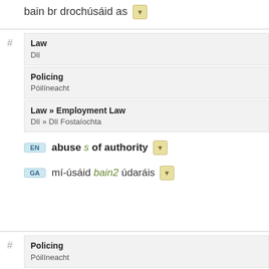bain br drochúsáid as [dropdown]
Law / Dlí
Policing / Póilíneacht
Law » Employment Law / Dlí » Dlí Fostaíochta
EN abuse s of authority [dropdown]
GA mí-úsáid bain2 údaráis [dropdown]
Policing / Póilíneacht